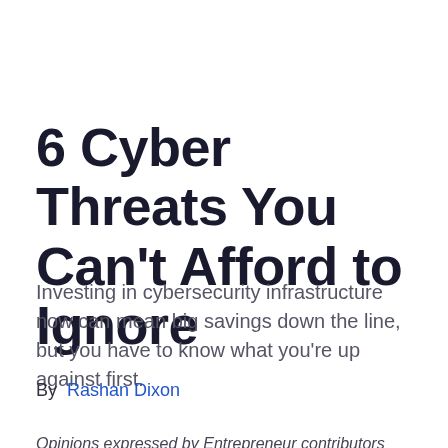6 Cyber Threats You Can't Afford to Ignore
Investing in cybersecurity infrastructure now can mean big savings down the line, but you have to know what you're up against first.
By  Rashan Dixon
Opinions expressed by Entrepreneur contributors are their own.
As if your business didn't have enough to